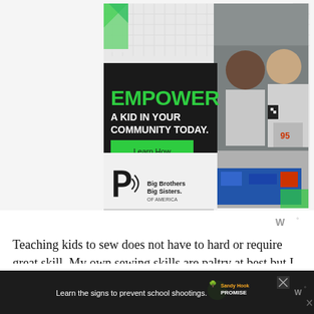[Figure (illustration): Big Brothers Big Sisters of America advertisement. Shows an adult man and a boy working together on a robotics project. Black left panel with green text reading 'EMPOWER A KID IN YOUR COMMUNITY TODAY.' and a green 'Learn How' button. BBBS logo shown. Background has geometric pattern in gray.]
[Figure (logo): Small 'W°' Tripadvisor-style logo in gray, top right area below the ad]
Teaching kids to sew does not have to hard or require great skill. My own sewing skills are paltry at best but I am still grateful for them. I wish I had pressed my
[Figure (illustration): Bottom bar advertisement: dark background with text 'Learn the signs to prevent school shootings.' Sandy Hook Promise logo with tree graphic. X close button. W° logo on right.]